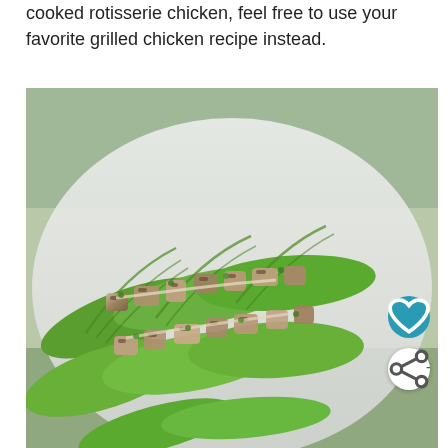cooked rotisserie chicken, feel free to use your favorite grilled chicken recipe instead.
[Figure (photo): Overhead close-up photo of grilled chicken pieces served in romaine lettuce leaves on a white plate, garnished with herbs and a creamy sauce.]